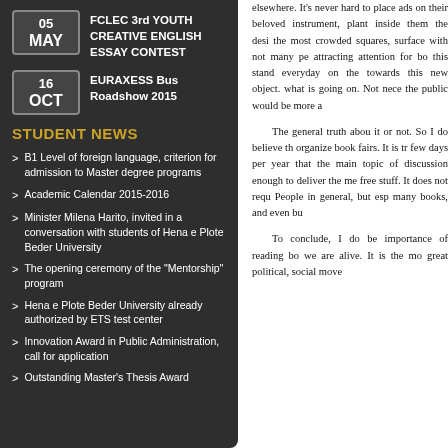05 MAY — FCLEC 3rd YOUTH CREATIVE ENGLISH ESSAY CONTEST
16 OCT — EURAXESS Bus Roadshow 2015
STUDENT NEWS
B1 Level of foreign language, criterion for admission to Master degree programs
Academic Calendar 2015-2016
Minister Milena Harito, invited in a conversation with students of Hena e Plote Beder University
The opening ceremony of the "Mentorship" program
Hena e Plote Beder University already authorized by ETS test center
Innovation Award in Public Administration, call for application
Outstanding Master's Thesis Award
elsewhere. It's never hard to place ads on their beloved instrument, plant inside them the desire to visit the most crowded squares, or any surface with not many people, thus attracting attention for books. Having this stand everyday on the way leads towards this new object. Moreover, what is going on. Not necessarily, the public would be more attracted.
The general truth about it or not. So I do believe that organize book fairs. It is true few days per year that the main topic of discussion enough to deliver the message free stuff. It does not require People in general, but especially many books, and even buying.
To conclude, I do believe importance of reading books we are alive. It is the most great political, social movements.